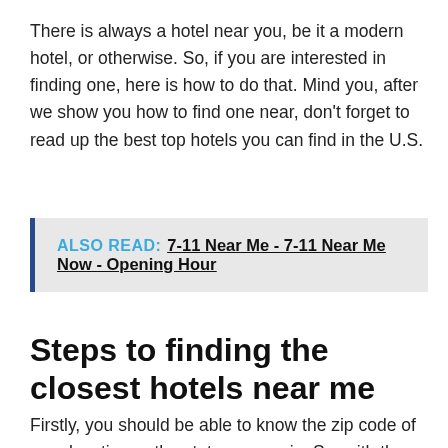There is always a hotel near you, be it a modern hotel, or otherwise. So, if you are interested in finding one, here is how to do that. Mind you, after we show you how to find one near, don't forget to read up the best top hotels you can find in the U.S.
ALSO READ:  7-11 Near Me - 7-11 Near Me Now - Opening Hour
Steps to finding the closest hotels near me
Firstly, you should be able to know the zip code of your location or the state you are in. So, with these two things, you can find hotels near me.